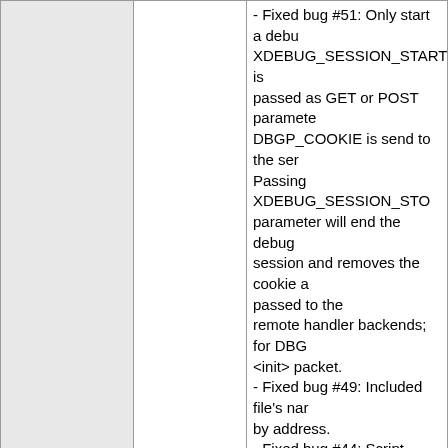|  | Version | Changes |
| --- | --- | --- |
|  |  | - Fixed bug #51: Only start a debug session when XDEBUG_SESSION_START is passed as GET or POST parameter, or a DBGP_COOKIE is send to the server. Passing XDEBUG_SESSION_STOP as parameter will end the debug session and removes the cookie and is passed to the remote handler backends; for DBGP in the <init> packet.
- Fixed bug #49: Included file's name is found by address.
- Fixed bug #44: Script time-outs still work while debugging.
= Fixed bug #36: GDB handler using "$" with wrong syntax
- Fixed bug #33: Implemented the ZEND_POST_DEACTIVATE hook so it can handle destructors safely too.
- Fixed bug #32: Unusual dynamic ... to crash. |
|  | 1.3.2 | = Fixed bug #58: Xdebug 1.3.x doe... 5. (Derick) |
|  | 1.3.1 | = Fixed profiler to aggregate classa... (Robert Beenen)
= Fixed debugclient to initialize soc... (Brandon Philips and David Sklar) |